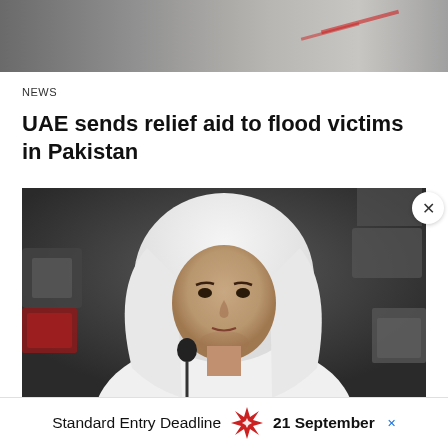[Figure (photo): Top partial image showing what appears to be flags or relief supplies, cropped at top of page]
NEWS
UAE sends relief aid to flood victims in Pakistan
[Figure (photo): Photo of a man wearing traditional Arab white thobe and keffiyeh (headscarf) speaking at a podium with microphone in front of a dark background]
Standard Entry Deadline   21 September